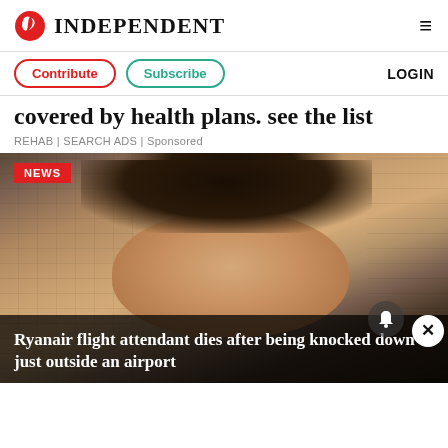INDEPENDENT
Contribute | Subscribe | LOGIN
covered by health plans. see the list
REHAB | SEARCH ADS | Sponsored
[Figure (photo): Close-up portrait photo of a woman with curly dark hair, outdoors near a stone wall. Labeled as NEWS. Overlay text: Ryanair flight attendant dies after being knocked down just outside an airport]
Ryanair flight attendant dies after being knocked down just outside an airport